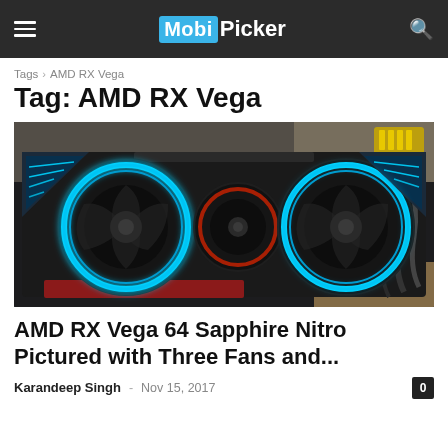MobiPicker
Tags › AMD RX Vega
Tag: AMD RX Vega
[Figure (photo): AMD RX Vega 64 Sapphire Nitro graphics card with three fans glowing blue LED rings, installed in a PC case]
AMD RX Vega 64 Sapphire Nitro Pictured with Three Fans and...
Karandeep Singh – Nov 15, 2017